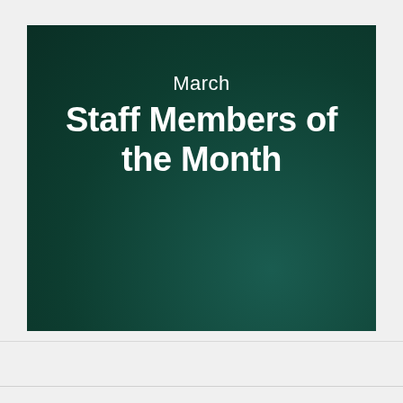March Staff Members of the Month